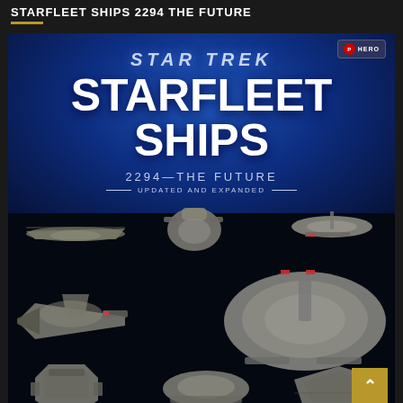STARFLEET SHIPS 2294 THE FUTURE
[Figure (photo): Book cover for 'Star Trek Starfleet Ships 2294—The Future, Updated and Expanded' published by Hero Collector. Dark blue gradient background with large white bold text. Multiple Starfleet starship models shown from top-down view arranged in three rows: top row shows three different starship models, middle row shows two larger starships, bottom row shows three smaller starship models. A gold back-to-top arrow button is in the bottom right corner.]